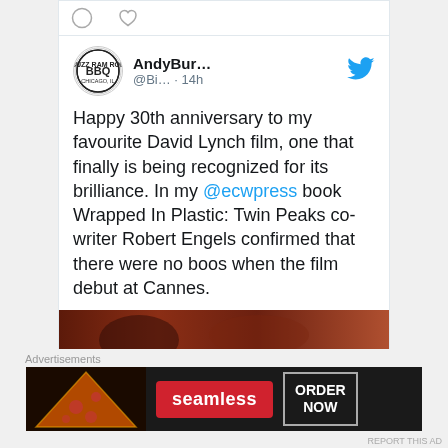[Figure (screenshot): Tweet card showing BBQ account avatar with circular BBQ logo, username AndyBur... @Bi... · 14h, Twitter bird icon, and tweet text about 30th anniversary of David Lynch film.]
Happy 30th anniversary to my favourite David Lynch film, one that finally is being recognized for its brilliance. In my @ecwpress book Wrapped In Plastic: Twin Peaks co-writer Robert Engels confirmed that there were no boos when the film debut at Cannes.
[Figure (photo): Partial photo of food item on dark background, cut off at bottom of tweet card.]
Advertisements
[Figure (screenshot): Seamless food delivery advertisement banner with pizza image, Seamless logo in red, and ORDER NOW button in white border.]